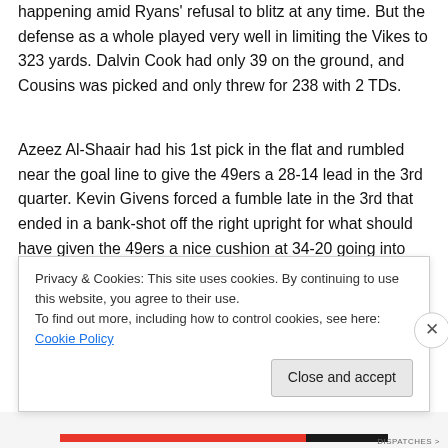happening amid Ryans' refusal to blitz at any time. But the defense as a whole played very well in limiting the Vikes to 323 yards. Dalvin Cook had only 39 on the ground, and Cousins was picked and only threw for 238 with 2 TDs.
Azeez Al-Shaair had his 1st pick in the flat and rumbled near the goal line to give the 49ers a 28-14 lead in the 3rd quarter. Kevin Givens forced a fumble late in the 3rd that ended in a bank-shot off the right upright for what should have given the 49ers a nice cushion at 34-20 going into the 4th quarter had the not-so-special teams not promptly given up a 105-yard kickoff return, but all in all the
Privacy & Cookies: This site uses cookies. By continuing to use this website, you agree to their use.
To find out more, including how to control cookies, see here: Cookie Policy